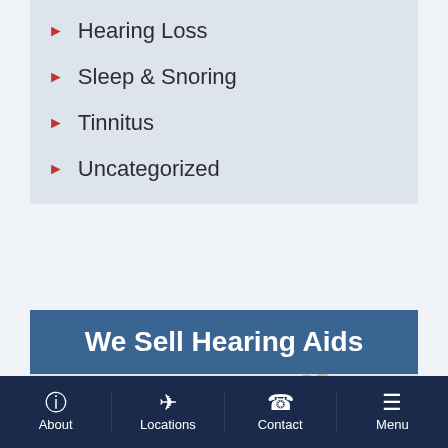Hearing Loss
Sleep & Snoring
Tinnitus
Uncategorized
We Sell Hearing Aids
Explore Options ▶
[Figure (photo): Two beige behind-the-ear hearing aids shown in close-up]
About | Locations | Contact | Menu